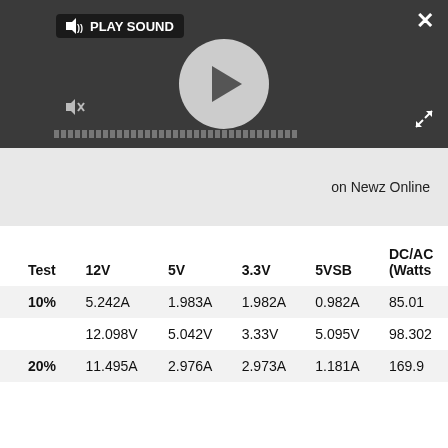[Figure (screenshot): Media player overlay with PLAY SOUND button, circular play button, mute icon, and progress bar on dark background]
on Newz Online
| Test | 12V | 5V | 3.3V | 5VSB | DC/AC (Watts |
| --- | --- | --- | --- | --- | --- |
| 10% | 5.242A | 1.983A | 1.982A | 0.982A | 85.01 |
|  | 12.098V | 5.042V | 3.33V | 5.095V | 98.302 |
| 20% | 11.495A | 2.976A | 2.973A | 1.181A | 169.9 |